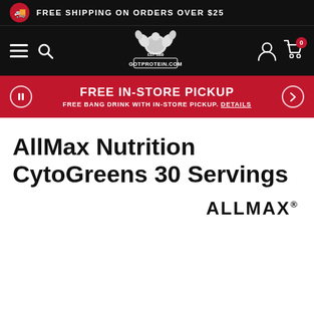FREE SHIPPING ON ORDERS OVER $25
[Figure (logo): GotProtein.com logo with muscular figure, navigation icons (hamburger menu, search, account, cart with 0 badge)]
FREE IN-STORE PICKUP. FREE BANG DRINK WITH IN-STORE PICKUP. DETAILS
AllMax Nutrition CytoGreens 30 Servings
[Figure (logo): ALLMAX brand logo in bold black text]